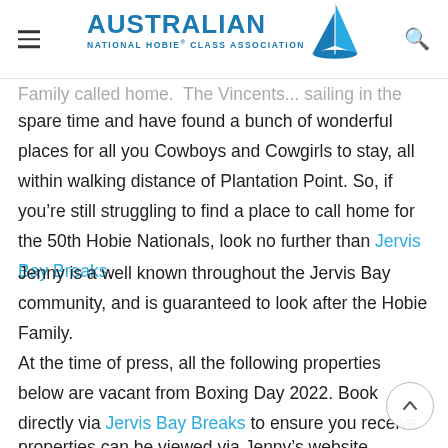Australian National Hobie Class Association
Family called home. The Vincents... sailing in the spare time and have found a bunch of wonderful places for all you Cowboys and Cowgirls to stay, all within walking distance of Plantation Point. So, if you're still struggling to find a place to call home for the 50th Hobie Nationals, look no further than Jervis Bay Breaks.
Jenny is a well known throughout the Jervis Bay community, and is guaranteed to look after the Hobie Family.
At the time of press, all the following properties below are vacant from Boxing Day 2022. Book directly via Jervis Bay Breaks to ensure you receive the best deal possible. All properties can be viewed via Jenny's website.